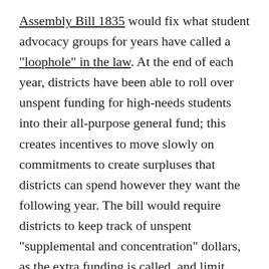Assembly Bill 1835 would fix what student advocacy groups for years have called a "loophole" in the law. At the end of each year, districts have been able to roll over unspent funding for high-needs students into their all-purpose general fund; this creates incentives to move slowly on commitments to create surpluses that districts can spend however they want the following year. The bill would require districts to keep track of unspent “supplemental and concentration” dollars, as the extra funding is called, and limit their use to the targeted student groups.
“The carryover should be non-negotiable. The resources should benefit the intended students,” said Samantha Tran, senior managing director for education